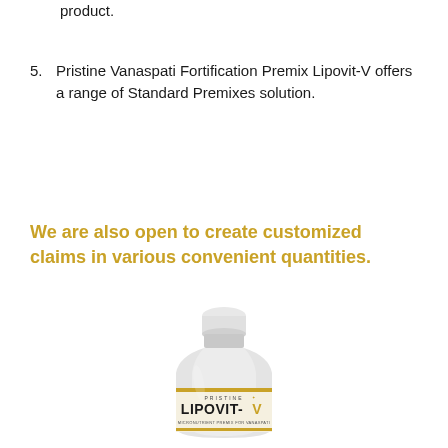product.
5. Pristine Vanaspati Fortification Premix Lipovit-V offers a range of Standard Premixes solution.
We are also open to create customized claims in various convenient quantities.
[Figure (photo): A white plastic bottle with label reading PRISTINE LIPOVIT-V MICRONUTRIENT PREMIX FOR VANASPATI, with gold/yellow label band at bottom of bottle body.]